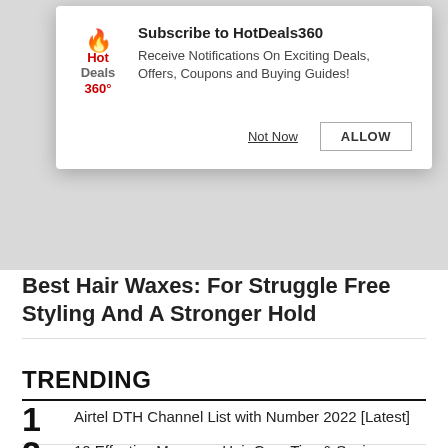[Figure (screenshot): HotDeals360 website screenshot showing a browser notification popup dialog with Subscribe to HotDeals360 message and Not Now / ALLOW buttons]
Best Hair Waxes: For Struggle Free Styling And A Stronger Hold
TRENDING
1 Airtel DTH Channel List with Number 2022 [Latest]
2 10 Effective Monsoon Hair Care Tips & Saviours